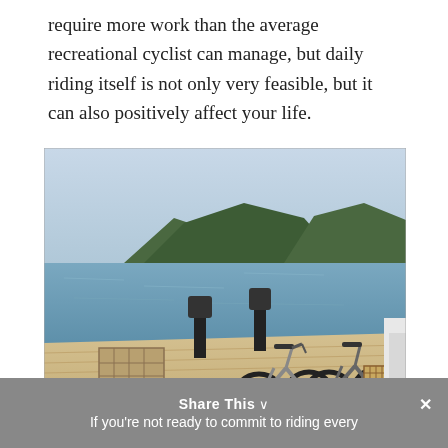require more work than the average recreational cyclist can manage, but daily riding itself is not only very feasible, but it can also positively affect your life.
[Figure (photo): Photo of electric bicycles parked on the deck of a boat on a calm lake surrounded by forested hills. The boat deck appears to be made of light-colored wood. A crate/basket and chair are visible on the left side of the deck.]
Share This ∨  ×
If you're not ready to commit to riding every